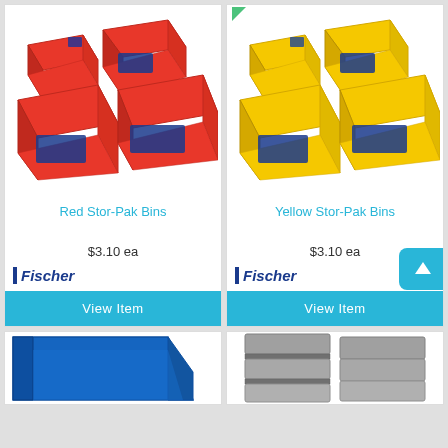[Figure (photo): Multiple red plastic Stor-Pak bins arranged in a group, varying sizes]
Red Stor-Pak Bins
$3.10 ea
[Figure (logo): Fischer brand logo in blue italic bold text with blue left border]
View Item
[Figure (photo): Multiple yellow plastic Stor-Pak bins arranged in a group, varying sizes]
Yellow Stor-Pak Bins
$3.10 ea
[Figure (logo): Fischer brand logo in blue italic bold text with blue left border]
View Item
[Figure (photo): Blue plastic storage bin, partially visible at bottom of page]
[Figure (photo): Grey metal storage drawers/bins, partially visible at bottom of page]